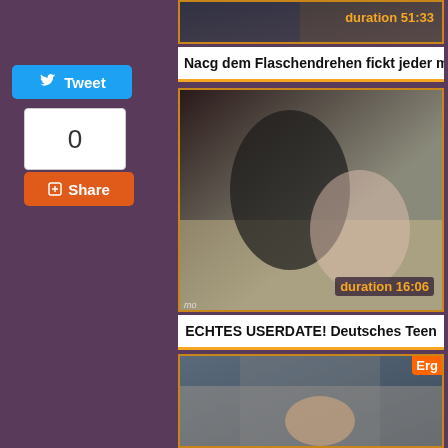[Figure (screenshot): Partial video thumbnail at top, cropped, showing duration 51:33 in orange]
Tweet
0
Share
Nacg dem Flaschendrehen fickt jeder mit
[Figure (screenshot): Video thumbnail showing two people on a wooden floor, duration 16:06 in orange, watermark 'mo' bottom left]
ECHTES USERDATE! Deutsches Teen
[Figure (screenshot): Video thumbnail showing person in a car, partial 'Erg' badge top right]